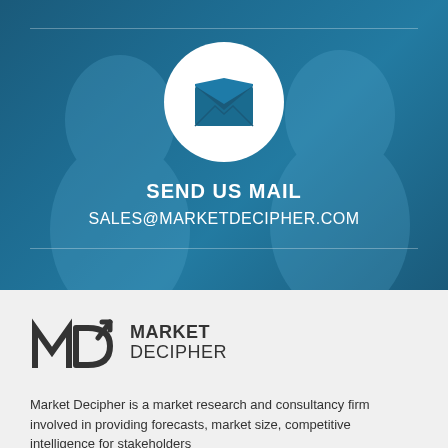[Figure (illustration): Blue-tinted background photo of two smiling professionals (man and woman) with a white circle containing a blue open envelope/mail icon in the center. Horizontal divider lines above and below the icon area.]
SEND US MAIL
SALES@MARKETDECIPHER.COM
[Figure (logo): Market Decipher logo: MD monogram with an upward arrow through the D, followed by MARKET DECIPHER text in bold/regular weight.]
Market Decipher is a market research and consultancy firm involved in providing forecasts, market size, competitive intelligence for stakeholders